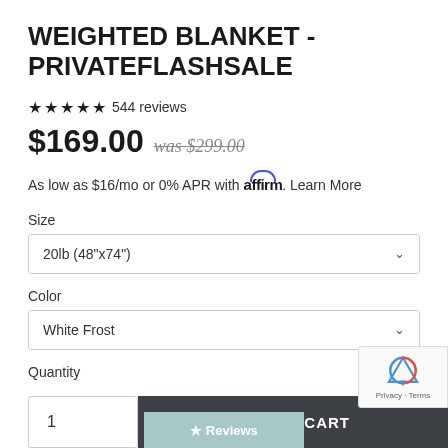WEIGHTED BLANKET - PRIVATEFLASHSALE
★★★★★ 544 reviews
$169.00 was $299.00
As low as $16/mo or 0% APR with affirm. Learn More
Size
20lb (48"x74")
Color
White Frost
Quantity
1
ADD TO CART
★ Reviews